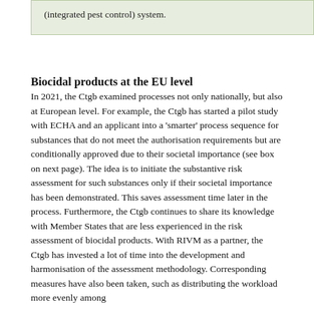(integrated pest control) system.
Biocidal products at the EU level
In 2021, the Ctgb examined processes not only nationally, but also at European level. For example, the Ctgb has started a pilot study with ECHA and an applicant into a 'smarter' process sequence for substances that do not meet the authorisation requirements but are conditionally approved due to their societal importance (see box on next page). The idea is to initiate the substantive risk assessment for such substances only if their societal importance has been demonstrated. This saves assessment time later in the process. Furthermore, the Ctgb continues to share its knowledge with Member States that are less experienced in the risk assessment of biocidal products. With RIVM as a partner, the Ctgb has invested a lot of time into the development and harmonisation of the assessment methodology. Corresponding measures have also been taken, such as distributing the workload more evenly among